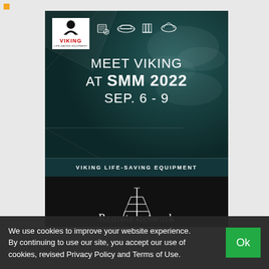[Figure (illustration): Viking Life-Saving Equipment promotional image for SMM 2022 trade show. Teal/dark oceanic background with Viking logo, product icons (life raft, ship, etc.), text 'MEET VIKING AT SMM 2022 SEP. 6 - 9', and 'VIKING LIFE-SAVING EQUIPMENT' banner. Below is a dark section with a tower illustration and partial text 'Remote network'.]
We use cookies to improve your website experience. By continuing to use our site, you accept our use of cookies, revised Privacy Policy and Terms of Use.